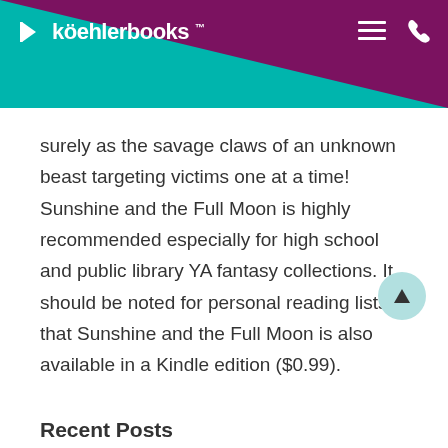köehlerbooks
surely as the savage claws of an unknown beast targeting victims one at a time! Sunshine and the Full Moon is highly recommended especially for high school and public library YA fantasy collections. It should be noted for personal reading lists that Sunshine and the Full Moon is also available in a Kindle edition ($0.99).
Recent Posts